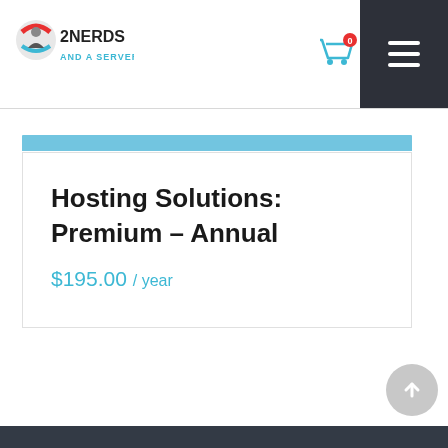2NERDS AND A SERVER
Hosting Solutions: Premium – Annual
$195.00 / year